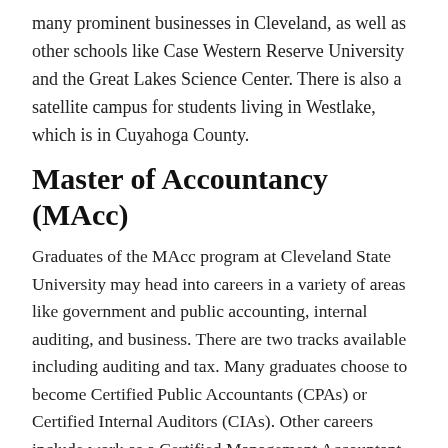many prominent businesses in Cleveland, as well as other schools like Case Western Reserve University and the Great Lakes Science Center. There is also a satellite campus for students living in Westlake, which is in Cuyahoga County.
Master of Accountancy (MAcc)
Graduates of the MAcc program at Cleveland State University may head into careers in a variety of areas like government and public accounting, internal auditing, and business. There are two tracks available including auditing and tax. Many graduates choose to become Certified Public Accountants (CPAs) or Certified Internal Auditors (CIAs). Other careers include work as a Certified Management Accountant (CMA) or Certified Information Systems Auditor (CISA). Classes in the Audit track include Accounting Systems, International Accounting Standards, and Federal Income Tax. Classes in the Tax track include Taxation of Partnerships, Tax & Research Planning, and Federal Income Taxation of Corps & Shareholders...